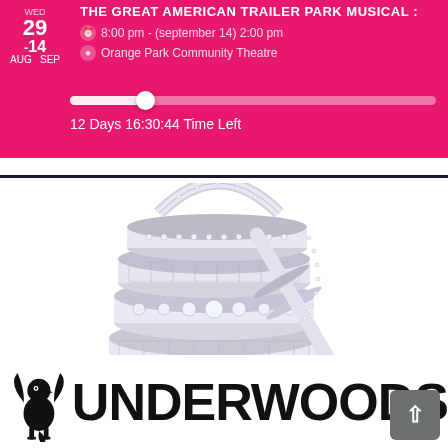[Figure (screenshot): Pink event banner showing 'THE GREAT AMERICAN TRAILER PARK MUSICAL' event card with date 29 AUG - 14 SEP, time 8:00 pm (september 14) 2:00 pm, location Orange Park Community Theatre, a progress bar, and '12 Days 16:30:44 Time Left']
[Figure (photo): Stack of diamond-encrusted white gold/platinum wedding bands and eternity rings piled together on white background]
[Figure (logo): Underwoods jewelry store logo with winged griffin icon and large bold text 'UNDERWOODS' in black]